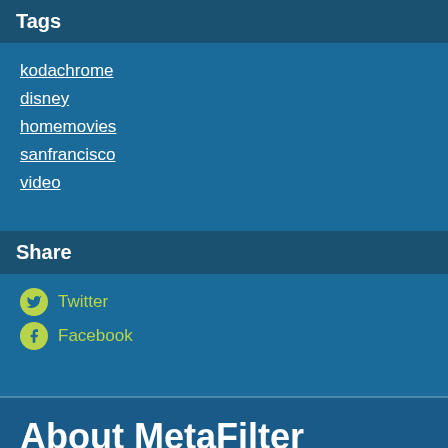Tags
kodachrome
disney
homemovies
sanfrancisco
video
Share
Twitter
Facebook
About MetaFilter
MetaFilter is a weblog that anyone can contribute a link or a comment to. A typical weblog is one person posting their